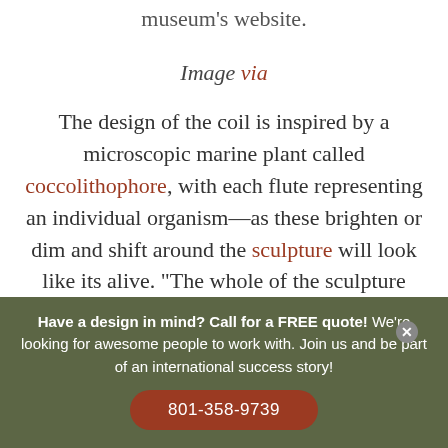museum's website.
Image via
The design of the coil is inspired by a microscopic marine plant called coccolithophore, with each flute representing an individual organism—as these brighten or dim and shift around the sculpture will look like its alive. "The whole of the sculpture
Have a design in mind? Call for a FREE quote! We're looking for awesome people to work with. Join us and be part of an international success story! 801-358-9739